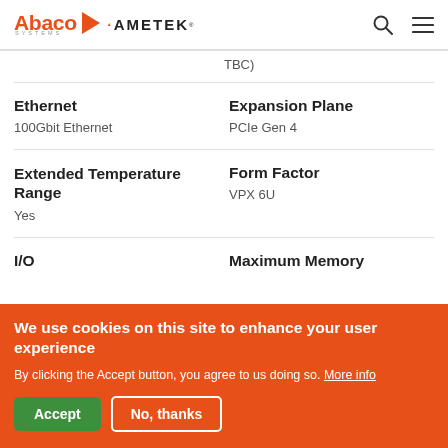Abaco Systems / AMETEK
TBC)
Ethernet
100Gbit Ethernet
Expansion Plane
PCIe Gen 4
Extended Temperature Range
Yes
Form Factor
VPX 6U
I/O
Maximum Memory
We use cookies on this site to enhance your user experience
By clicking the Accept button, you agree to us doing so. More info